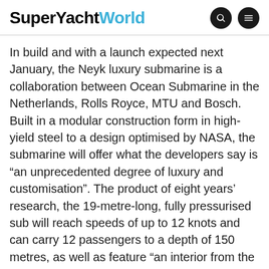SuperYachtWorld
In build and with a launch expected next January, the Neyk luxury submarine is a collaboration between Ocean Submarine in the Netherlands, Rolls Royce, MTU and Bosch. Built in a modular construction form in high-yield steel to a design optimised by NASA, the submarine will offer what the developers say is “an unprecedented degree of luxury and customisation”. The product of eight years’ research, the 19-metre-long, fully pressurised sub will reach speeds of up to 12 knots and can carry 12 passengers to a depth of 150 metres, as well as feature “an interior from the private jet industry”, the developers say. Customisation options include fitting landing gear so that the sub can come to rest on a beach, adding a dedicated diver lock-out chamber, and transforming the nose area into a 270° underwater observation room. Features inside include a bar, a library and